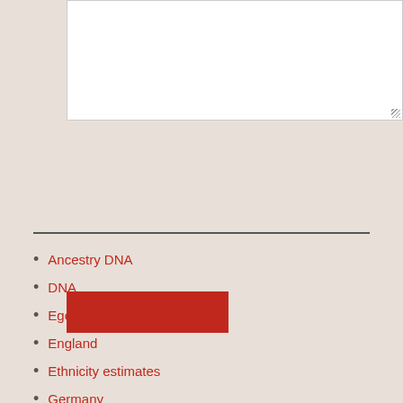[Figure (other): White textarea input box with resize handle at bottom-right corner]
[Figure (other): Red rectangular button]
Ancestry DNA
DNA
Egelsbach, Hesse
England
Ethnicity estimates
Germany